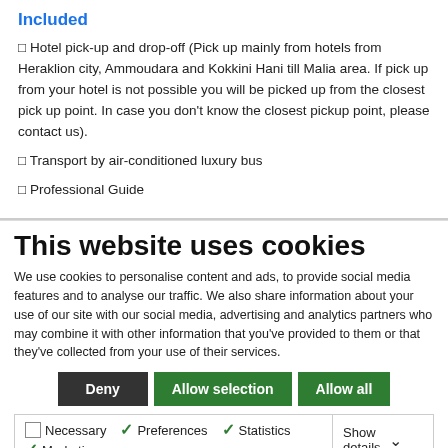Included
✓ Hotel pick-up and drop-off (Pick up mainly from hotels from Heraklion city, Ammoudara and Kokkini Hani till Malia area. If pick up from your hotel is not possible you will be picked up from the closest pick up point. In case you don't know the closest pickup point, please contact us).
✓ Transport by air-conditioned luxury bus
✓ Professional Guide
This website uses cookies
We use cookies to personalise content and ads, to provide social media features and to analyse our traffic. We also share information about your use of our site with our social media, advertising and analytics partners who may combine it with other information that you've provided to them or that they've collected from your use of their services.
Deny | Allow selection | Allow all
Necessary | Preferences | Statistics | Marketing | Show details